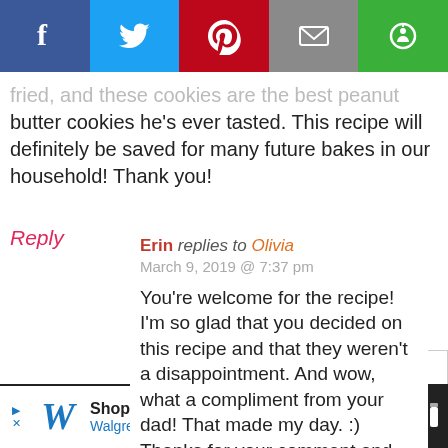[Figure (infographic): Social share bar with Facebook, Twitter, Pinterest, Email, and a green share button icons]
fried, and these cookies are the best peanut butter cookies he's ever tasted. This recipe will definitely be saved for many future bakes in our household! Thank you!
Reply
Erin replies to Olivia
March 9, 2019 @ 7:37 pm
You're welcome for the recipe! I'm so glad that you decided on this recipe and that they weren't a disappointment. And wow, what a compliment from your dad! That made my day. :) Thanks for your comment and sorry for my slow reply!
Reply
Scroll to top
Shop with Walgreens and Save
Walgreens Photo